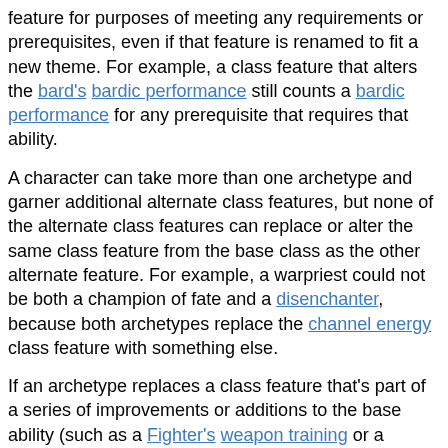feature for purposes of meeting any requirements or prerequisites, even if that feature is renamed to fit a new theme. For example, a class feature that alters the bard's bardic performance still counts a bardic performance for any prerequisite that requires that ability.
A character can take more than one archetype and garner additional alternate class features, but none of the alternate class features can replace or alter the same class feature from the base class as the other alternate feature. For example, a warpriest could not be both a champion of fate and a disenchanter, because both archetypes replace the channel energy class feature with something else.
If an archetype replaces a class feature that's part of a series of improvements or additions to the base ability (such as a Fighter's weapon training or a ranger's favored enemy), the next time the character would gain that ability, it counts as the lower-level ability that was replaced by the archetype. In effect, all abilities in that series are delayed until the next time the class improves that ability. For example, if an archetype replaces a rogue's +2d6 sneak attack bonus at 3rd level, her sneak attack doesn't jump from +1d6 to +3d6 at 5th level —it improves to +2d6 just as if she finally gained the increase for 3rd level. This adjustment continues for every level in